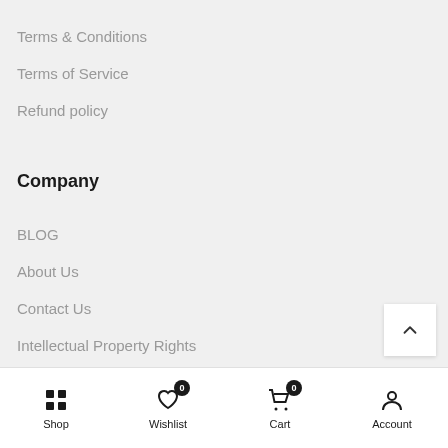Terms & Conditions
Terms of Service
Refund policy
Company
BLOG
About Us
Contact Us
Intellectual Property Rights
Shop  Wishlist 0  Cart 0  Account